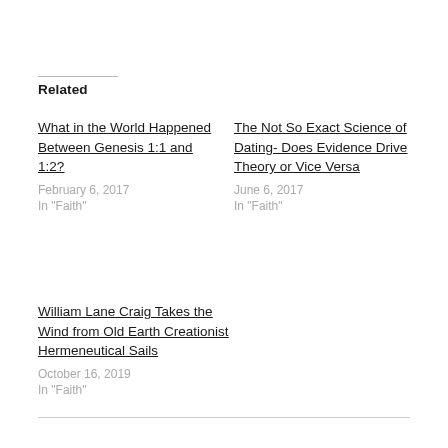Related
What in the World Happened Between Genesis 1:1 and 1:2?
February 6, 2017
In "Faith"
The Not So Exact Science of Dating- Does Evidence Drive Theory or Vice Versa
June 6, 2017
In "Faith"
William Lane Craig Takes the Wind from Old Earth Creationist Hermeneutical Sails
October 16, 2019
In "Faith"